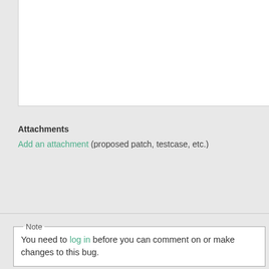Attachments
Add an attachment (proposed patch, testcase, etc.)
Note
You need to log in before you can comment on or make changes to this bug.
Johannes Segitz    2019-08-08 14:31:25 UTC
This is a embargoed bug. This means that this informat. - do not talk to other people about this unless they're issue - do not submit this into OBS (e.g. fix Leap) until th